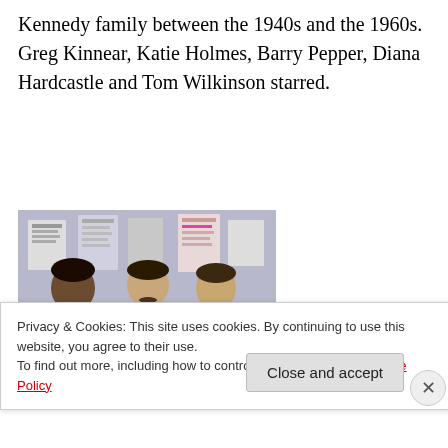Kennedy family between the 1940s and the 1960s. Greg Kinnear, Katie Holmes, Barry Pepper, Diana Hardcastle and Tom Wilkinson starred.
[Figure (photo): Black and white photo of three men in suits standing together in what appears to be an office setting with papers on the wall behind them.]
Privacy & Cookies: This site uses cookies. By continuing to use this website, you agree to their use.
To find out more, including how to control cookies, see here: Cookie Policy